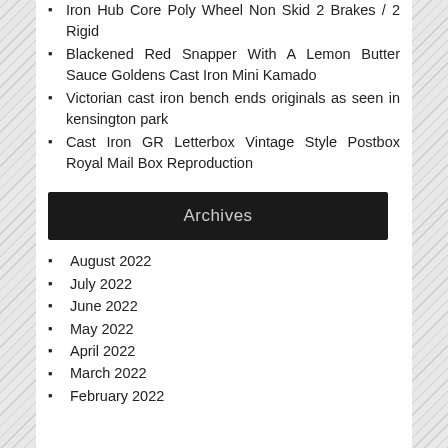Iron Hub Core Poly Wheel Non Skid 2 Brakes / 2 Rigid
Blackened Red Snapper With A Lemon Butter Sauce Goldens Cast Iron Mini Kamado
Victorian cast iron bench ends originals as seen in kensington park
Cast Iron GR Letterbox Vintage Style Postbox Royal Mail Box Reproduction
Archives
August 2022
July 2022
June 2022
May 2022
April 2022
March 2022
February 2022